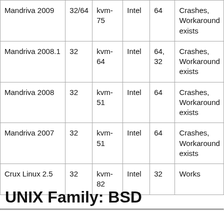| Mandriva 2009 | 32/64 | kvm-75 | Intel | 64 | Crashes, Workaround exists |
| Mandriva 2008.1 | 32 | kvm-64 | Intel | 64, 32 | Crashes, Workaround exists |
| Mandriva 2008 | 32 | kvm-51 | Intel | 64 | Crashes, Workaround exists |
| Mandriva 2007 | 32 | kvm-51 | Intel | 64 | Crashes, Workaround exists |
| Crux Linux 2.5 | 32 | kvm-82 | Intel | 32 | Works |
UNIX Family: BSD